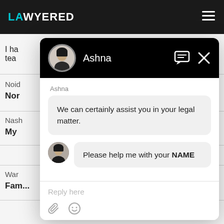LAWYERED
I ha... his tea...
[Figure (screenshot): Chat widget overlay showing conversation with agent Ashna. Agent message: 'We can certainly assist you in your legal matter.' User message: 'Please help me with your NAME'. Reply input field at bottom with attachment and emoji icons.]
Ashna
We can certainly assist you in your legal matter.
Please help me with your NAME
Reply here
Noid
Nor
Nash
My
War
Fam...